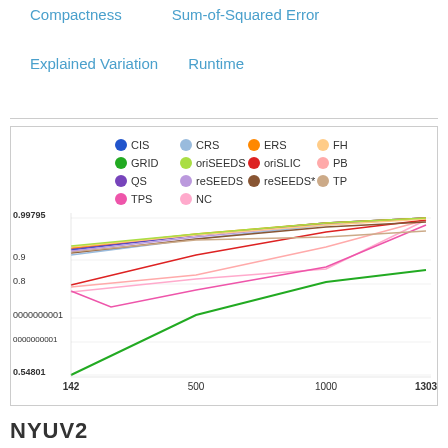Compactness    Sum-of-Squared Error
Explained Variation    Runtime
[Figure (line-chart): Multi-series line chart showing Explained Variation vs number of superpixels for algorithms: CIS, CRS, ERS, FH, GRID, oriSEEDS, oriSLIC, PB, QS, reSEEDS, reSEEDS*, TP, TPS, NC. X-axis: 142, 500, 1000, 1303. Y-axis labels: 0.54801, 0000000001 (two entries), 0.8, 0.9, 0.99795. GRID (green) starts lowest at ~0.548 and rises to ~0.93. NC (pink) starts at ~0.85 and rises slowly. Most other algorithms cluster near the top (0.92-0.998).]
NYUV2